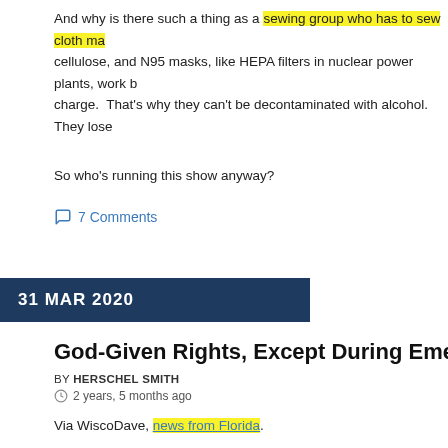And why is there such a thing as a sewing group who has to sew cloth ma cellulose, and N95 masks, like HEPA filters in nuclear power plants, work b charge.  That's why they can't be decontaminated with alcohol.  They lose
So who's running this show anyway?
7 Comments
31 MAR 2020
God-Given Rights, Except During Emerg
BY HERSCHEL SMITH
2 years, 5 months ago
Via WiscoDave, news from Florida.
A Hillsborough County pastor was arrested Monday after he inten no gatherings of 10 or more people he held in order to stop of the his megachurch, Hillsborough County Sheriff Chad Chronister anr
The sheriff's office received an anonymous tip on Friday that Past the megachurch River at Tampa Bay Church in Riverview, refused